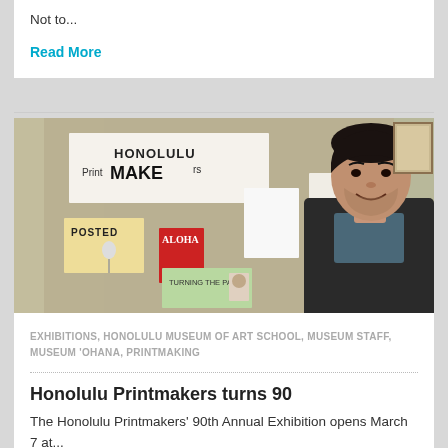Not to...
Read More
[Figure (photo): Young Asian man smiling in front of a bulletin board with printmaking posters including 'Honolulu Printmakers' and 'Turning the Page' signs]
EXHIBITIONS, HONOLULU MUSEUM OF ART SCHOOL, MUSEUM STAFF, MUSEUM 'OHANA, PRINTMAKING
Honolulu Printmakers turns 90
The Honolulu Printmakers' 90th Annual Exhibition opens March 7 at...